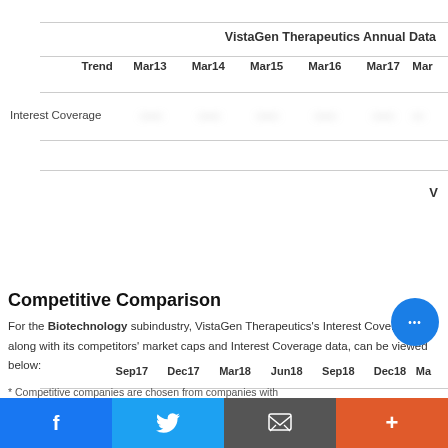VistaGen Therapeutics Annual Data
|  | Trend | Mar13 | Mar14 | Mar15 | Mar16 | Mar17 | Mar... |
| --- | --- | --- | --- | --- | --- | --- | --- |
| Interest Coverage | █████ | █████ | █████ | █████ | █████ |  |
|  | Sep17 | Dec17 | Mar18 | Jun18 | Sep18 | Dec18 | Mar... |
| --- | --- | --- | --- | --- | --- | --- | --- |
| Interest Coverage | █████ | █████ | █████ | █████ | █████ | █████ | █ |
Competitive Comparison
For the Biotechnology subindustry, VistaGen Therapeutics's Interest Coverage, along with its competitors' market caps and Interest Coverage data, can be viewed below:
* Competitive companies are chosen from companies with...